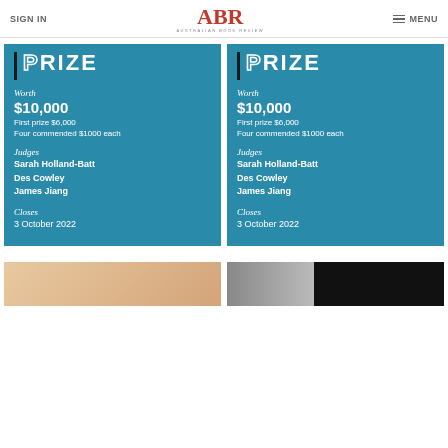SIGN IN | ABR Australian Book Review | MENU
PRIZE
Worth
$10,000
First prize $6,000
Four commended $1000 each
Judges
Sarah Holland-Batt
Des Cowley
James Jiang
Closes
3 October 2022
PRIZE
Worth
$10,000
First prize $6,000
Four commended $1000 each
Judges
Sarah Holland-Batt
Des Cowley
James Jiang
Closes
3 October 2022
[Figure (photo): Partial view of a person's face/skin tone, bottom left]
[Figure (photo): Partial view of a dark image with textured pattern, bottom right]